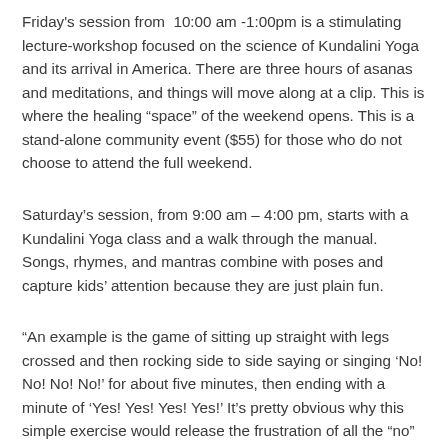Friday's session from 10:00 am -1:00pm is a stimulating lecture-workshop focused on the science of Kundalini Yoga and its arrival in America. There are three hours of asanas and meditations, and things will move along at a clip. This is where the healing “space” of the weekend opens. This is a stand-alone community event ($55) for those who do not choose to attend the full weekend.
Saturday’s session, from 9:00 am – 4:00 pm, starts with a Kundalini Yoga class and a walk through the manual. Songs, rhymes, and mantras combine with poses and capture kids’ attention because they are just plain fun.
“An example is the game of sitting up straight with legs crossed and then rocking side to side saying or singing ‘No! No! No! No!’ for about five minutes, then ending with a minute of ‘Yes! Yes! Yes! Yes!’ It’s pretty obvious why this simple exercise would release the frustration of all the “no” we wanted to say and didn’t.”